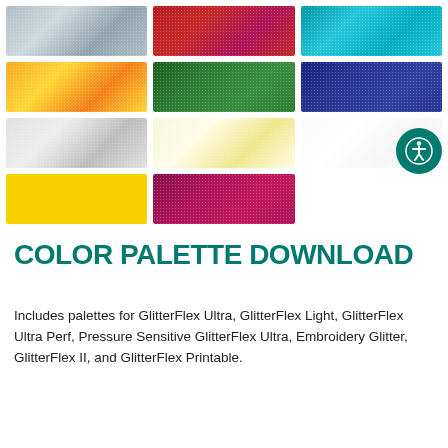[Figure (illustration): Grid of 11 color swatches showing glitter material samples in silver, crimson, cyan, gold, green, navy, light silver, cream, white, yellow, and hot pink arranged in a 3-column grid with 4 rows (last row has only 2 swatches).]
COLOR PALETTE DOWNLOAD
Includes palettes for GlitterFlex Ultra, GlitterFlex Light, GlitterFlex Ultra Perf, Pressure Sensitive GlitterFlex Ultra, Embroidery Glitter, GlitterFlex II, and GlitterFlex Printable.